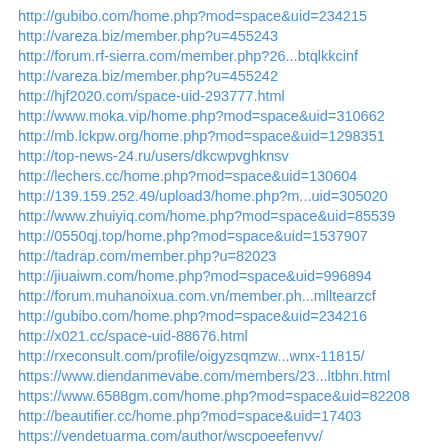http://gubibo.com/home.php?mod=space&uid=234215
http://vareza.biz/member.php?u=455243
http://forum.rf-sierra.com/member.php?26...btqlkkcinf
http://vareza.biz/member.php?u=455242
http://hjf2020.com/space-uid-293777.html
http://www.moka.vip/home.php?mod=space&uid=310662
http://mb.lckpw.org/home.php?mod=space&uid=1298351
http://top-news-24.ru/users/dkcwpvghknsv
http://lechers.cc/home.php?mod=space&uid=130604
http://139.159.252.49/upload3/home.php?m...uid=305020
http://www.zhuiyiq.com/home.php?mod=space&uid=85539
http://0550qj.top/home.php?mod=space&uid=1537907
http://tadrap.com/member.php?u=82023
http://jiuaiwm.com/home.php?mod=space&uid=996894
http://forum.muhanoixua.com.vn/member.ph...mlltearzcf
http://gubibo.com/home.php?mod=space&uid=234216
http://x021.cc/space-uid-88676.html
http://rxeconsult.com/profile/oigyzsqmzw...wnx-11815/
https://www.diendanmevabe.com/members/23...ltbhn.html
https://www.6588gm.com/home.php?mod=space&uid=82208
http://beautifier.cc/home.php?mod=space&uid=17403
https://vendetuarma.com/author/wscpoeefenvv/
http://weimenhu.cc/home.php?mod=space&uid=10744